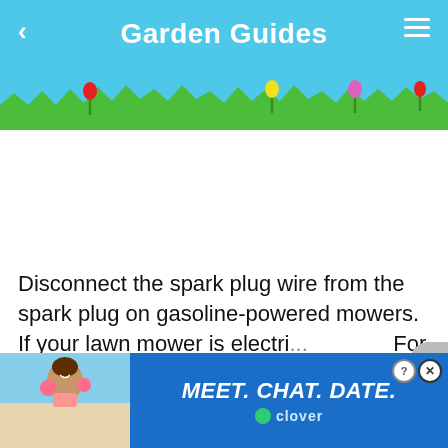Garden Guides
[Figure (illustration): Garden Guides website header with sky blue background, colorful tulip flowers (red, yellow, pink), green grass silhouette at bottom, and a small white bunny rabbit illustration]
Disconnect the spark plug wire from the spark plug on gasoline-powered mowers. If your lawn mower is electri... For batter...
[Figure (photo): Advertisement banner: Clover dating app ad reading 'MEET. CHAT. DATE.' with photo of smiling woman on left side and close/help buttons in top right corner]